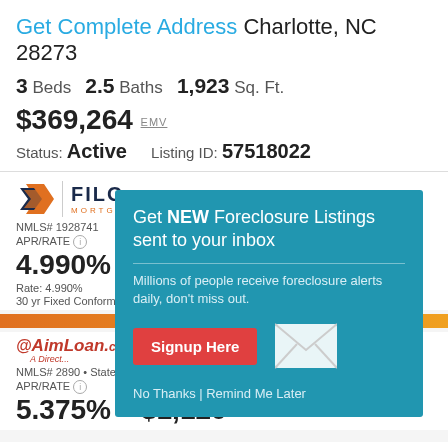Get Complete Address Charlotte, NC 28273
3 Beds  2.5 Baths  1,923 Sq. Ft.
$369,264 EMV
Status: Active   Listing ID: 57518022
[Figure (logo): FILO MORTGAGE logo with orange chevron icon]
NMLS# 1928741
APR/RATE
4.990%
Rate: 4.990%
30 yr Fixed Conformi...
[Figure (logo): AimLoan.com logo - A Direct lender]
NMLS# 2890 • State
APR/RATE
5.375%
MO. PAYMENT
$1,120
Get NEW Foreclosure Listings sent to your inbox
Millions of people receive foreclosure alerts daily, don't miss out.
Signup Here
No Thanks | Remind Me Later